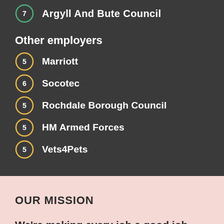7 Argyll And Bute Council
Other employers
5 Marriott
6 Socotec
5 Rochdale Borough Council
5 HM Armed Forces
5 Vets4Pets
OUR MISSION
We're making every job a good job.